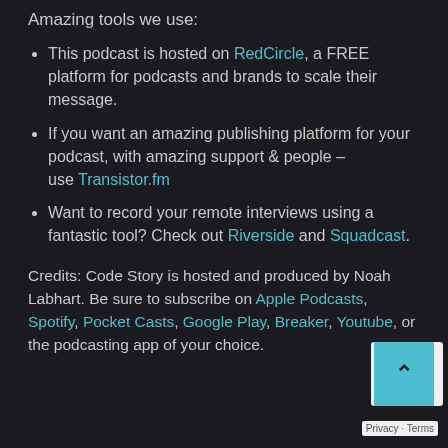Amazing tools we use:
This podcast is hosted on RedCircle, a FREE platform for podcasts and brands to scale their message.
If you want an amazing publishing platform for your podcast, with amazing support & people – use Transistor.fm
Want to record your remote interviews using a fantastic tool? Check out Riverside and Squadcast.
Credits: Code Story is hosted and produced by Noah Labhart. Be sure to subscribe on Apple Podcasts, Spotify, Pocket Casts, Google Play, Breaker, Youtube, or the podcasting app of your choice.